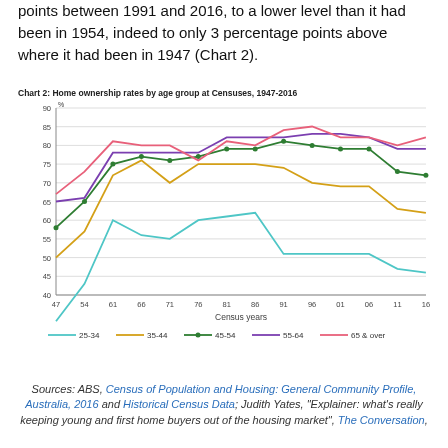points between 1991 and 2016, to a lower level than it had been in 1954, indeed to only 3 percentage points above where it had been in 1947 (Chart 2).
Chart 2: Home ownership rates by age group at Censuses, 1947-2016
[Figure (line-chart): Chart 2: Home ownership rates by age group at Censuses, 1947-2016]
Sources: ABS, Census of Population and Housing: General Community Profile, Australia, 2016 and Historical Census Data; Judith Yates, "Explainer: what's really keeping young and first home buyers out of the housing market", The Conversation,